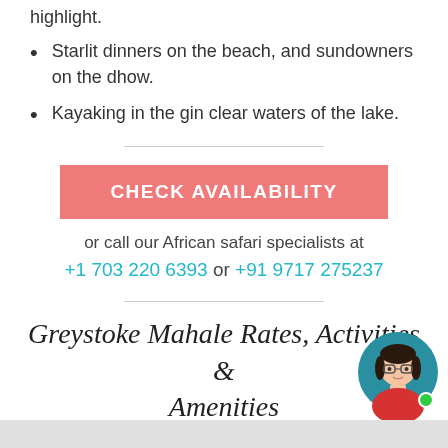highlight.
Starlit dinners on the beach, and sundowners on the dhow.
Kayaking in the gin clear waters of the lake.
[Figure (other): Pink button labeled CHECK AVAILABILITY]
or call our African safari specialists at
+1 703 220 6393 or +91 9717 275237
Greystoke Mahale Rates, Activities & Amenities
[Figure (illustration): Avatar of a woman with dark hair and glasses, wearing a red top, with a green online indicator dot, on a teal circular background]